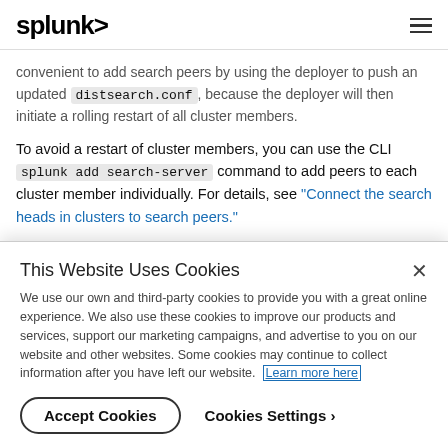splunk>
convenient to add search peers by using the deployer to push an updated distsearch.conf, because the deployer will then initiate a rolling restart of all cluster members.
To avoid a restart of cluster members, you can use the CLI splunk add search-server command to add peers to each cluster member individually. For details, see "Connect the search heads in clusters to search peers."
Caution: Complete this operation across all cluster members quickly, so that all members maintain the same set of search peers.
This Website Uses Cookies
We use our own and third-party cookies to provide you with a great online experience. We also use these cookies to improve our products and services, support our marketing campaigns, and advertise to you on our website and other websites. Some cookies may continue to collect information after you have left our website. Learn more here
Accept Cookies
Cookies Settings ›